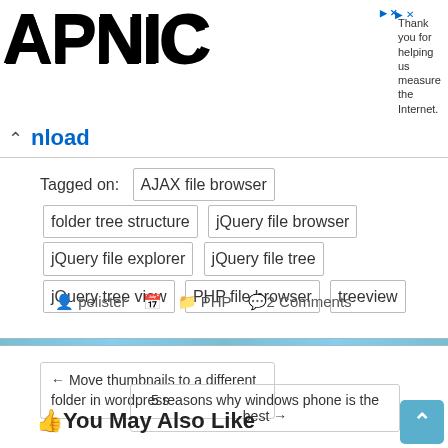[Figure (logo): APNIC logo in large bold black text]
Thank you for helping us measure the Internet.
^ nload
Tagged on: AJAX file browser  folder tree structure  jQuery file browser  jQuery file explorer  jQuery file tree  jQuery tree view  PHP file browser  treeview
pelister  PHP  2 Comments
← Move thumbnails to a different folder in wordpress
5 reasons why windows phone is the best →
👍You May Also Like